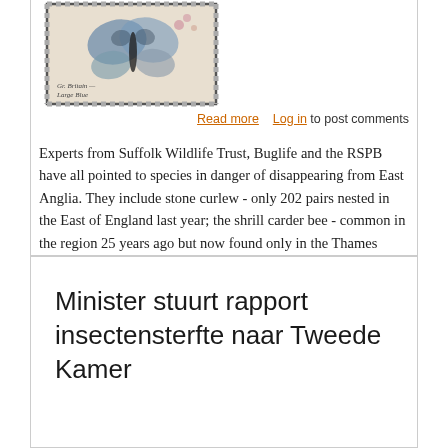[Figure (photo): A postage stamp from Great Britain featuring a Large Blue butterfly, with perforated edges and handwritten text reading 'Gr. Britain - Large Blue']
Read more   Log in to post comments
Experts from Suffolk Wildlife Trust, Buglife and the RSPB have all pointed to species in danger of disappearing from East Anglia. They include stone curlew - only 202 pairs nested in the East of England last year; the shrill carder bee - common in the region 25 years ago but now found only in the Thames Gateway area; and the crested cow-wheat - a plant limited to a small number of roadside verges because grassland has disappeared to farming or construction. Indeed, habitat destruction and human disturbance are cited as the two most common reasons these species are on the brink.
Minister stuurt rapport insectensterfte naar Tweede Kamer